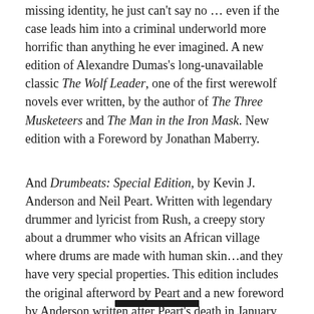missing identity, he just can't say no … even if the case leads him into a criminal underworld more horrific than anything he ever imagined. A new edition of Alexandre Dumas's long-unavailable classic The Wolf Leader, one of the first werewolf novels ever written, by the author of The Three Musketeers and The Man in the Iron Mask. New edition with a Foreword by Jonathan Maberry.
And Drumbeats: Special Edition, by Kevin J. Anderson and Neil Peart. Written with legendary drummer and lyricist from Rush, a creepy story about a drummer who visits an African village where drums are made with human skin…and they have very special properties. This edition includes the original afterword by Peart and a new foreword by Anderson written after Peart's death in January 2020. – Kevin J. Anderson